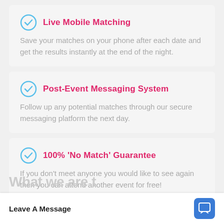Live Mobile Matching
Save your matches on your phone after each date and get the results instantly at the end of the night.
Post-Event Messaging System
Follow up any potential matches through our secure messaging platform the next day.
100% 'No Match' Guarantee
If you don't meet anyone you would like to see again then you can attend another event for free!
What we are t
Leave A Message